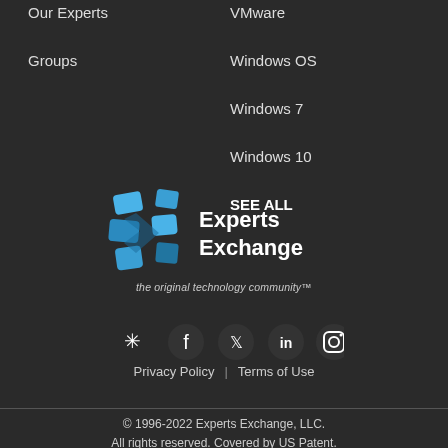Our Experts
Groups
VMware
Windows OS
Windows 7
Windows 10
SEE ALL
[Figure (logo): Experts Exchange logo with blue X icon and text 'Experts Exchange' with tagline 'the original technology community™']
[Figure (infographic): Social media icons: Experts Exchange, Facebook, Twitter, LinkedIn, Instagram]
Privacy Policy | Terms of Use
© 1996-2022 Experts Exchange, LLC. All rights reserved. Covered by US Patent.